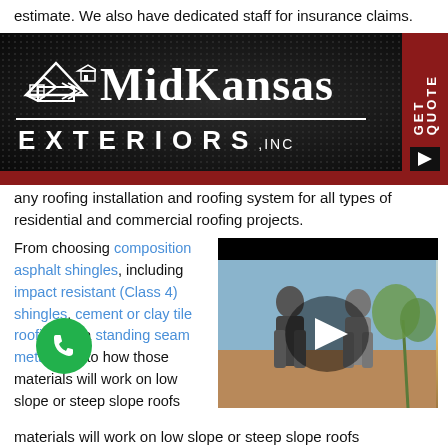estimate. We also have dedicated staff for insurance claims.
[Figure (logo): MidKansas Exteriors Inc logo — white text on dark dotted background with house/roof icon and GET QUOTE tab on right]
any roofing installation and roofing system for all types of residential and commercial roofing projects.
From choosing composition asphalt shingles, including impact resistant (Class 4) shingles, cement or clay tile roofing, or a standing seam metal roof, to how those materials will work on low slope or steep slope roofs
[Figure (screenshot): Video thumbnail showing two people outdoors with play button overlay]